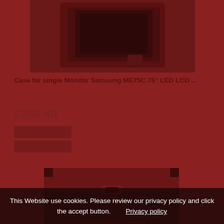[Figure (photo): Photo of a flight case for single Samsung ME75C monitor, dark background, top portion partially visible]
Case for single Monitor Samsung ME75C 75" LED LCD ...
☆☆☆☆☆
£890.40
[Figure (photo): Photo of a flight case open showing twin monitor transport case, dark red/maroon colored road case with handles and wheels]
Case for Twin Samsung Monitor 55" DM55E
☆☆☆☆☆
This Website use cookies. Please review our privacy policy and click the accept button.        Privacy policy